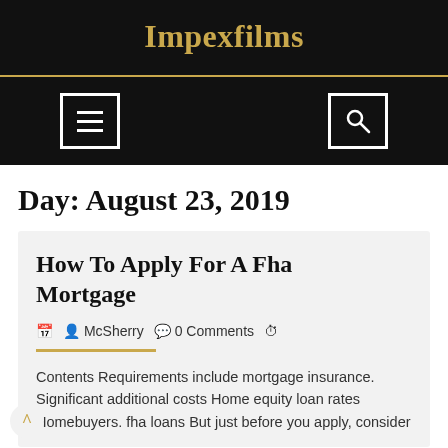Impexfilms
Day: August 23, 2019
How To Apply For A Fha Mortgage
McSherry   0 Comments
Contents Requirements include mortgage insurance. Significant additional costs Home equity loan rates Homebuyers. fha loans But just before you apply, consider